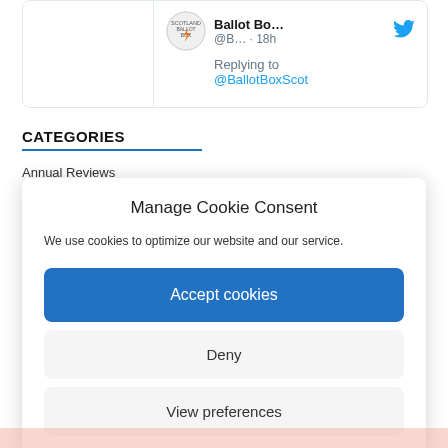[Figure (screenshot): Partial tweet card showing Ballot Box Scotland account replying to @BallotBoxScot, posted 18 hours ago]
CATEGORIES
Annual Reviews
Manage Cookie Consent
We use cookies to optimize our website and our service.
Accept cookies
Deny
View preferences